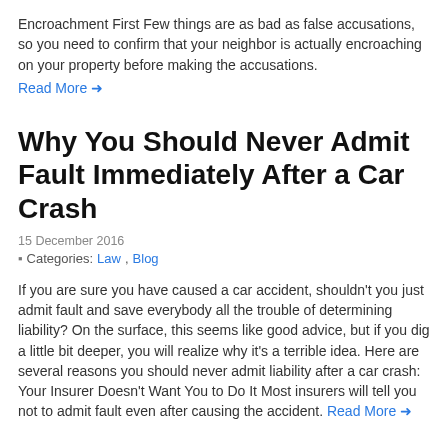Encroachment First Few things are as bad as false accusations, so you need to confirm that your neighbor is actually encroaching on your property before making the accusations.
Read More →
Why You Should Never Admit Fault Immediately After a Car Crash
15 December 2016
Categories: Law, Blog
If you are sure you have caused a car accident, shouldn't you just admit fault and save everybody all the trouble of determining liability? On the surface, this seems like good advice, but if you dig a little bit deeper, you will realize why it's a terrible idea. Here are several reasons you should never admit liability after a car crash: Your Insurer Doesn't Want You to Do It Most insurers will tell you not to admit fault even after causing the accident. Read More →